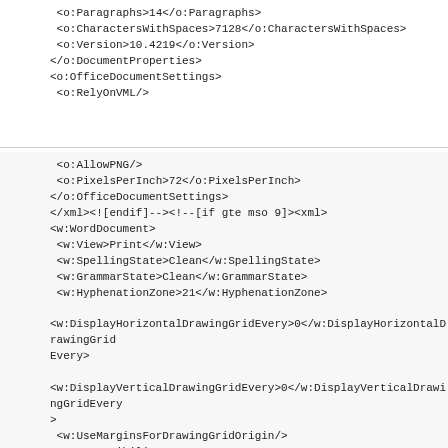<o:Paragraphs>14</o:Paragraphs>
 <o:CharactersWithSpaces>7128</o:CharactersWithSpaces>
 <o:Version>10.4219</o:Version>
</o:DocumentProperties>
<o:OfficeDocumentSettings>
 <o:RelyOnVML/>
<o:AllowPNG/>
 <o:PixelsPerInch>72</o:PixelsPerInch>
</o:OfficeDocumentSettings>
</xml><!--[endif]--><!--[if gte mso 9]><xml>
<w:WordDocument>
 <w:View>Print</w:View>
 <w:SpellingState>Clean</w:SpellingState>
 <w:GrammarState>Clean</w:GrammarState>
 <w:HyphenationZone>21</w:HyphenationZone>

<w:DisplayHorizontalDrawingGridEvery>0</w:DisplayHorizontalDrawingGridEvery>

<w:DisplayVerticalDrawingGridEvery>0</w:DisplayVerticalDrawingGridEvery>
 <w:UseMarginsForDrawingGridOrigin/>
 <w:Compatibility>
  <w:FootnoteLayoutLikeWW8/>
  <w:ShapeLayoutLikeWW8/>
  <w:AlignTablesRowByRow/>
  <w:ForgetLastTabAlignment/>
  <w:LayoutRawTableWidth/>
  <w:LayoutTableRowsApart/>
  <w:UseWord97LineBreakingRules/>
  <w:UseFELayout/>
 </w:Compatibility>
</w:WordDocument>
</xml><!--[endif]--><!--[if !mso]><object classid="clsid:38481807-CA0E-42D2-BF39-B33AF135CC4D" id=ieooui></object>
<style>